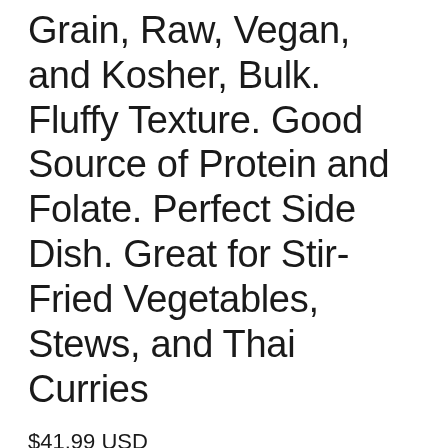Grain, Raw, Vegan, and Kosher, Bulk. Fluffy Texture. Good Source of Protein and Folate. Perfect Side Dish. Great for Stir-Fried Vegetables, Stews, and Thai Curries
$41.99 USD
Shipping calculated at checkout.
Pay in 4 interest-free installments for orders over $50 with shop Pay
Learn more
Weight
24 lbs | 12 lbs | 6 lbs | 3 lbs